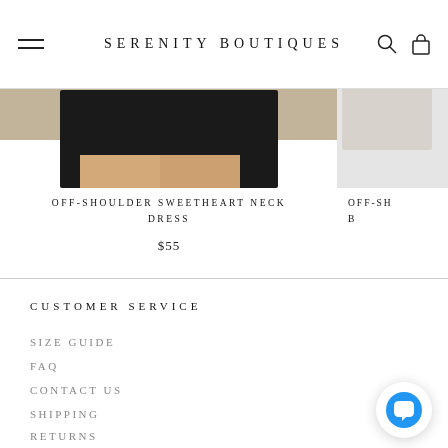SERENITY BOUTIQUES
[Figure (photo): Fashion product photo showing a model wearing a black off-shoulder sweetheart neck dress, partially cropped]
OFF-SHOULDER SWEETHEART NECK DRESS
$55
OFF-SH...
CUSTOMER SERVICE
SIZE GUIDE
FAQ
CONTACT US
SHIPPING
RETURNS